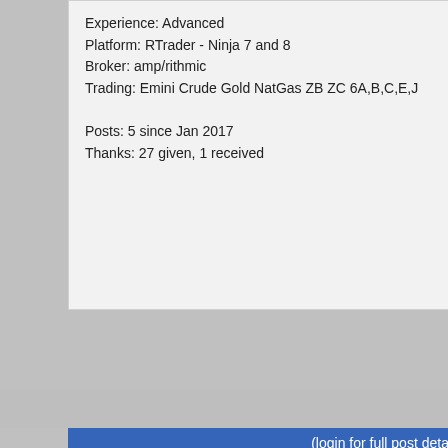Experience: Advanced
Platform: RTrader - Ninja 7 and 8
Broker: amp/rithmic
Trading: Emini Crude Gold NatGas ZB ZC 6A,B,C,E,J

Posts: 5 since Jan 2017
Thanks: 27 given, 1 received
(login for full post details)
Topstep
Site Sponsor
Web: Topstep
AMA: Ask Me Anything
Webinars: Topstep Webinars
Elite offer: Click here
[Figure (logo): Black background with white letter T logo for Topstep]
bobwest
There's no weekly loss limit in th...
The situation in FTP and Funde... what is on the TST website as o...
(A) As I read it, in both the FTP... are the same as the daily loss li... Combine.)
(B) The weekly number is simph... on two of the days in the week y... were down $200 a day for each... not exceed the limit.)